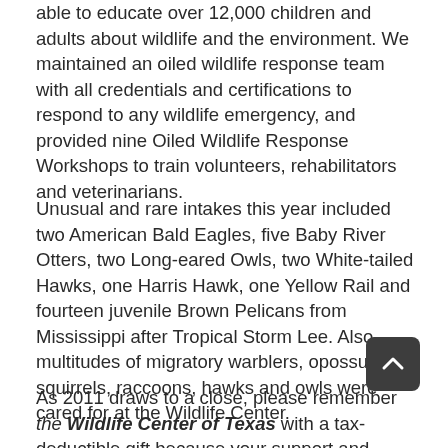able to educate over 12,000 children and adults about wildlife and the environment. We maintained an oiled wildlife response team with all credentials and certifications to respond to any wildlife emergency, and provided nine Oiled Wildlife Response Workshops to train volunteers, rehabilitators and veterinarians.
Unusual and rare intakes this year included two American Bald Eagles, five Baby River Otters, two Long-eared Owls, two White-tailed Hawks, one Harris Hawk, one Yellow Rail and fourteen juvenile Brown Pelicans from Mississippi after Tropical Storm Lee. Also, multitudes of migratory warblers, opossums, squirrels, raccoons, hawks and owls were cared for at the Wildlife Center.
As 2011 draws to a close, please remember the Wildlife Center of Texas with a tax-deductible gift because your support and kindness are critical for all